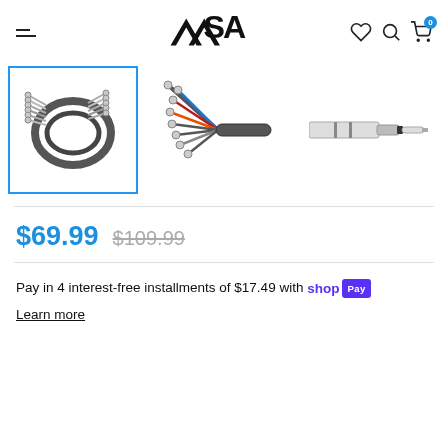SA — navigation header with hamburger menu, logo, wishlist, search, and cart icons
[Figure (photo): Product image gallery showing three views of a multi-connector audio snake cable: thumbnail 1 (selected, blue border) shows coiled cable with multiple TRS connectors, thumbnail 2 shows fan-out of connectors, thumbnail 3 shows close-up of single TRS plug]
$69.99  $109.99
Pay in 4 interest-free installments of $17.49 with shop Pay
Learn more